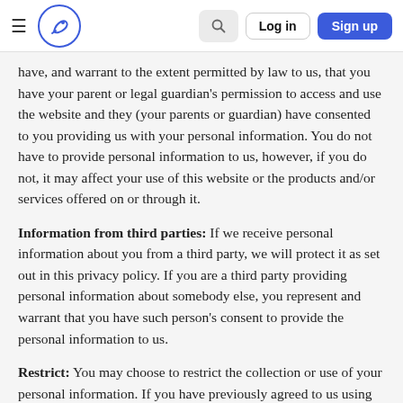≡ [logo] [search] Log in Sign up
have, and warrant to the extent permitted by law to us, that you have your parent or legal guardian's permission to access and use the website and they (your parents or guardian) have consented to you providing us with your personal information. You do not have to provide personal information to us, however, if you do not, it may affect your use of this website or the products and/or services offered on or through it.
Information from third parties: If we receive personal information about you from a third party, we will protect it as set out in this privacy policy. If you are a third party providing personal information about somebody else, you represent and warrant that you have such person's consent to provide the personal information to us.
Restrict: You may choose to restrict the collection or use of your personal information. If you have previously agreed to us using your personal information for direct marketing